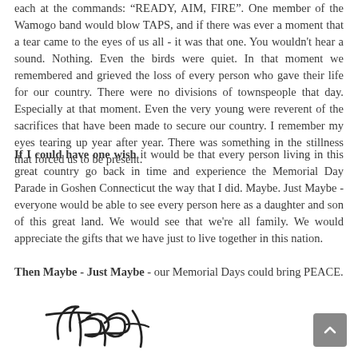each at the commands: 'READY, AIM, FIRE'. One member of the Wamogo band would blow TAPS, and if there was ever a moment that a tear came to the eyes of us all - it was that one. You wouldn't hear a sound. Nothing. Even the birds were quiet. In that moment we remembered and grieved the loss of every person who gave their life for our country. There were no divisions of townspeople that day. Especially at that moment. Even the very young were reverent of the sacrifices that have been made to secure our country. I remember my eyes tearing up year after year. There was something in the stillness that forced us to be present.
If I could have one wish it would be that every person living in this great country go back in time and experience the Memorial Day Parade in Goshen Connecticut the way that I did. Maybe. Just Maybe - everyone would be able to see every person here as a daughter and son of this great land. We would see that we're all family. We would appreciate the gifts that we have just to live together in this nation.
Then Maybe - Just Maybe - our Memorial Days could bring PEACE.
[Figure (illustration): Handwritten signature reading 'Terry' in cursive script]